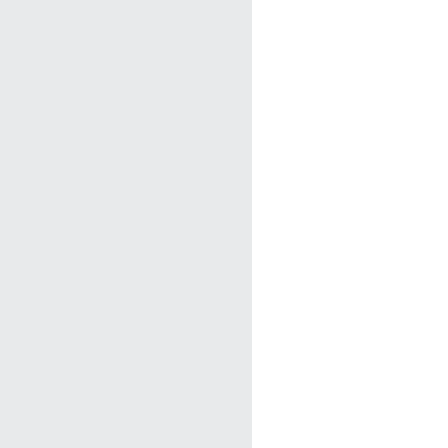| Part Number | Supplier |
| --- | --- |
| ST60117087000 | Stihl and Viking Sp |
| ST60117632700 | Stihl and Viking Sp |
| ST60117632701 | Stihl and Viking Sp |
| ST60117804600 | Stihl and Viking Sp |
| ST60119674400 | Stihl and Viking Sp |
| ST60119674410 | Stihl and Viking Sp |
| ST60120071000 | Stihl and Viking Sp |
| ST60120111800 | Stihl and Viking Sp |
| ST60120111825 | Stihl and Viking Sp |
| ST60121407200 | Stihl and Viking Sp |
| ST60121481400 | Stihl and Viking Sp |
| ST60123502705 | Stihl and Viking Sp |
| ST60123502710 | Stihl and Viking Sp |
| ST60124050800 | Stihl and Viking Sp |
| ST60127000300 | Stihl and Viking Sp |
| ST60127000310 | Stihl and Viking Sp |
| ST60127000400 | Stihl and Viking Sp |
| ST60127002300 | Stihl and Viking Sp |
| ST60127004800 | Stihl and Viking Sp |
| ST60127005100 | Stihl and Viking Sp |
| ST60127005110 | Stihl and Viking Sp |
| ST60127008520 | Stihl and Viking Sp |
| ST60127010900 | Stihl and Viking Sp |
| ST60127011600 | Stihl and Viking Sp |
| ST60127013900 | Stihl and Viking Sp |
| ST60127014100 | Stihl and Viking Sp |
| ST60127014505 | Stihl and Viking Sp |
| ST60127017000 | Stihl and Viking Sp |